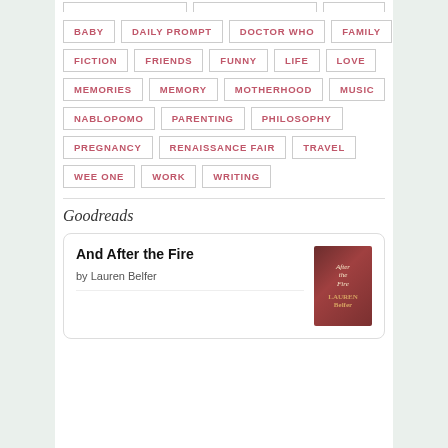BABY | DAILY PROMPT | DOCTOR WHO | FAMILY
FICTION | FRIENDS | FUNNY | LIFE | LOVE
MEMORIES | MEMORY | MOTHERHOOD | MUSIC
NABLOPOMO | PARENTING | PHILOSOPHY
PREGNANCY | RENAISSANCE FAIR | TRAVEL
WEE ONE | WORK | WRITING
Goodreads
| Title | Author |
| --- | --- |
| And After the Fire | by Lauren Belfer |